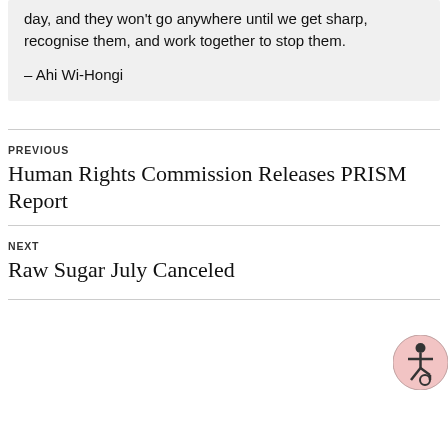day, and they won't go anywhere until we get sharp, recognise them, and work together to stop them.
– Ahi Wi-Hongi
PREVIOUS
Human Rights Commission Releases PRISM Report
NEXT
Raw Sugar July Canceled